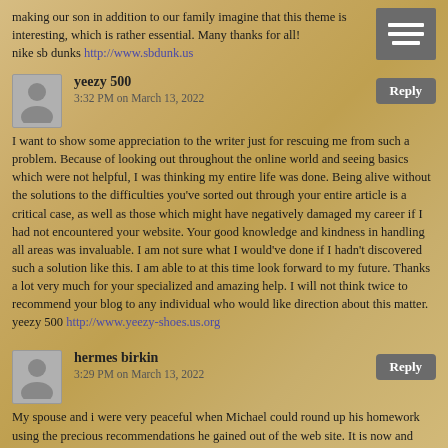making our son in addition to our family imagine that this theme is interesting, which is rather essential. Many thanks for all!
nike sb dunks http://www.sbdunk.us
[Figure (other): hamburger menu icon - three horizontal white lines on dark grey background]
yeezy 500
3:32 PM on March 13, 2022
Reply
I want to show some appreciation to the writer just for rescuing me from such a problem. Because of looking out throughout the online world and seeing basics which were not helpful, I was thinking my entire life was done. Being alive without the solutions to the difficulties you've sorted out through your entire article is a critical case, as well as those which might have negatively damaged my career if I had not encountered your website. Your good knowledge and kindness in handling all areas was invaluable. I am not sure what I would've done if I hadn't discovered such a solution like this. I am able to at this time look forward to my future. Thanks a lot very much for your specialized and amazing help. I will not think twice to recommend your blog to any individual who would like direction about this matter.
yeezy 500 http://www.yeezy-shoes.us.org
hermes birkin
3:29 PM on March 13, 2022
Reply
My spouse and i were very peaceful when Michael could round up his homework using the precious recommendations he gained out of the web site. It is now and again perplexing to simply find yourself giving away key points which often the others have been making money from. And we also discover we have the blog owner to thank because of that. The main illustrations you've made, the simple web